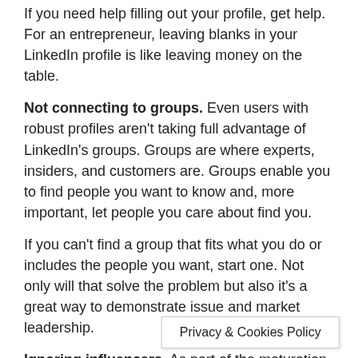If you need help filling out your profile, get help. For an entrepreneur, leaving blanks in your LinkedIn profile is like leaving money on the table.
Not connecting to groups. Even users with robust profiles aren't taking full advantage of LinkedIn's groups. Groups are where experts, insiders, and customers are. Groups enable you to find people you want to know and, more important, let people you care about find you.
If you can't find a group that fits what you do or includes the people you want, start one. Not only will that solve the problem but also it's a great way to demonstrate issue and market leadership.
Ignoring influencers. As part of the maturation process of LinkedIn, it's added a news tool–Pulse–that makes it easy to find, follow, and connect with leaders who matter to you and your business.
Posting too little. With m visitors,
Privacy & Cookies Policy